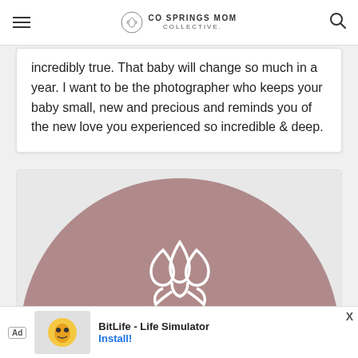CO SPRINGS MOM COLLECTIVE.
incredibly true. That baby will change so much in a year. I want to be the photographer who keeps your baby small, new and precious and reminds you of the new love you experienced so incredible & deep.
[Figure (logo): CO Springs Mom Collective logo: large mauve/rose semicircle with white lotus/tulip flower outline centered, and text 'CO SPRINGS MOM' visible at bottom]
Ad  BitLife - Life Simulator  Install!